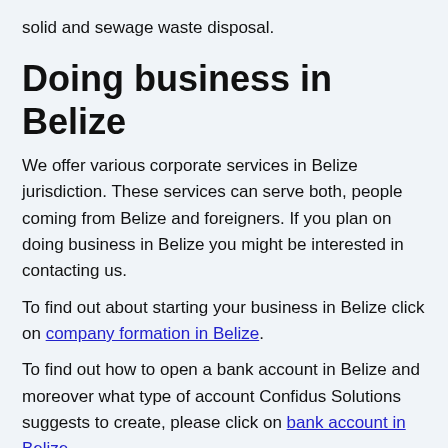solid and sewage waste disposal.
Doing business in Belize
We offer various corporate services in Belize jurisdiction. These services can serve both, people coming from Belize and foreigners. If you plan on doing business in Belize you might be interested in contacting us.
To find out about starting your business in Belize click on company formation in Belize.
To find out how to open a bank account in Belize and moreover what type of account Confidus Solutions suggests to create, please click on bank account in Belize.
Choose preferred service below or continue reading to find out more about Belize.